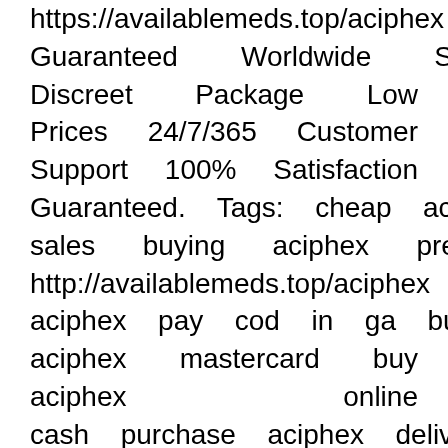https://availablemeds.top/aciphex Guaranteed Worldwide Shipping Discreet Package Low Prices 24/7/365 Customer Support 100% Satisfaction Guaranteed. Tags: cheap aciphex sales buying aciphex prescription http://availablemeds.top/aciphex aciphex pay cod in ga buy 20 mg aciphex mastercard buy aciphex online cash purchase aciphex delivered cod fedex want to buy aciphex cheap prescription aciphex purchase aciphex no scams aciphex average price buy aciphex pills on-line cheap buy fast aciphex discount cheap generic aciphex in chicago aciphex ups delivery only how to order aciphex where to buy next aciphex aciphex 10 mg buy mail order prescription drugs aciphex discount aciphex no prescrption generic no prescription aciphex aciphex online-store buy aciphex from online pharmacies buy